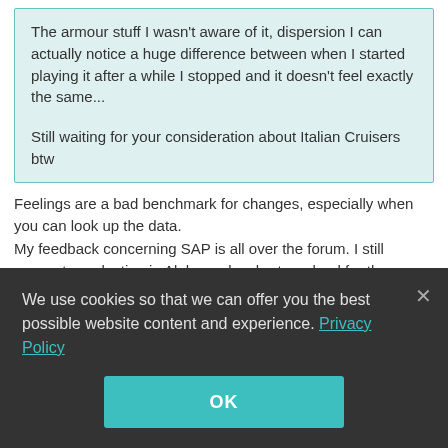The armour stuff I wasn't aware of it, dispersion I can actually notice a huge difference between when I started playing it after a while I stopped and it doesn't feel exactly the same...

Still waiting for your consideration about Italian Cruisers btw
Feelings are a bad benchmark for changes, especially when you can look up the data.
My feedback concerning SAP is all over the forum. I still suggest a reduction in Alpha and a shorter reload for the guns.
Since I played only one game in Genova and there is no useable server data, it is too early to judge her.
We use cookies so that we can offer you the best possible website content and experience. Privacy Policy

OK